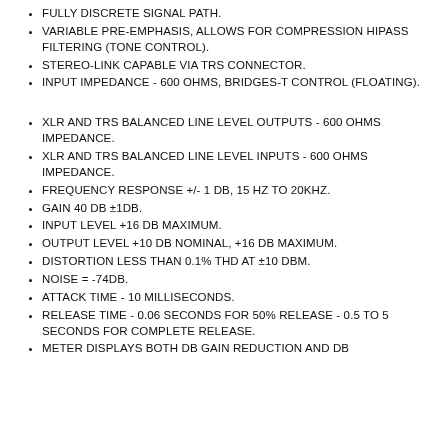FULLY DISCRETE SIGNAL PATH.
VARIABLE PRE-EMPHASIS, ALLOWS FOR COMPRESSION HIPASS FILTERING (TONE CONTROL).
STEREO-LINK CAPABLE VIA TRS CONNECTOR.
INPUT IMPEDANCE - 600 OHMS, BRIDGES-T CONTROL (FLOATING).
XLR AND TRS BALANCED LINE LEVEL OUTPUTS - 600 OHMS IMPEDANCE.
XLR AND TRS BALANCED LINE LEVEL INPUTS - 600 OHMS IMPEDANCE.
FREQUENCY RESPONSE +/- 1 DB, 15 HZ TO 20KHZ.
GAIN 40 DB ±1DB.
INPUT LEVEL +16 DB MAXIMUM.
OUTPUT LEVEL +10 DB NOMINAL, +16 DB MAXIMUM.
DISTORTION LESS THAN 0.1% THD AT ±10 DBM.
NOISE = -74DB.
ATTACK TIME - 10 MILLISECONDS.
RELEASE TIME - 0.06 SECONDS FOR 50% RELEASE - 0.5 TO 5 SECONDS FOR COMPLETE RELEASE.
METER DISPLAYS BOTH DB GAIN REDUCTION AND DB